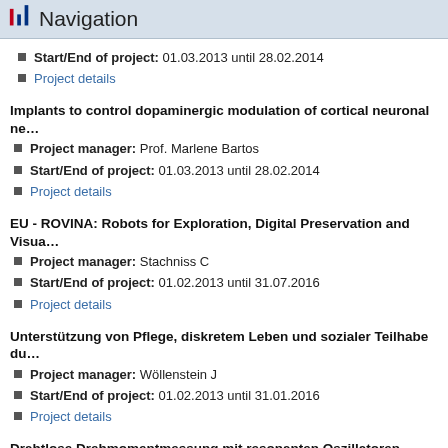Navigation
Start/End of project: 01.03.2013 until 28.02.2014
Project details
Implants to control dopaminergic modulation of cortical neuronal ne…
Project manager: Prof. Marlene Bartos
Start/End of project: 01.03.2013 until 28.02.2014
Project details
EU - ROVINA: Robots for Exploration, Digital Preservation and Visua…
Project manager: Stachniss C
Start/End of project: 01.02.2013 until 31.07.2016
Project details
Unterstützung von Pflege, diskretem Leben und sozialer Teilhabe du…
Project manager: Wöllenstein J
Start/End of project: 01.02.2013 until 31.01.2016
Project details
Drahtlose Drehmomentmessung mit resonanten Oszillatoren (Resot…
Project manager: M. Sc. Adnan Yousaf (Prof. Dr. L. M. Reindl)